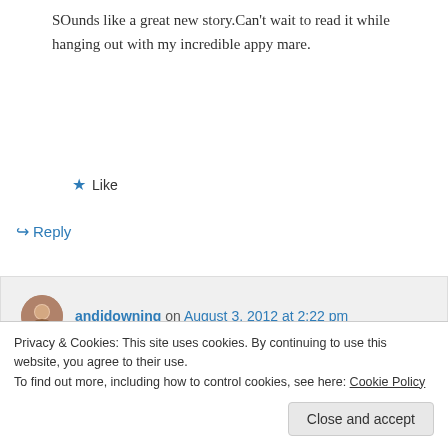SOunds like a great new story.Can't wait to read it while hanging out with my incredible appy mare.
★ Like
↪ Reply
andidowning on August 3, 2012 at 2:22 pm
LOL Jae. Thanks so much for taking part!
Privacy & Cookies: This site uses cookies. By continuing to use this website, you agree to their use. To find out more, including how to control cookies, see here: Cookie Policy
Close and accept